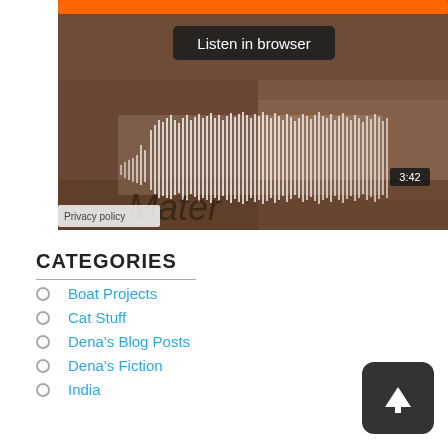[Figure (screenshot): Audio player widget showing a waveform visualization with an orange play bar at top, 'Listen in browser' button, waveform bars, time label '3:42', and 'Privacy policy' watermark. Background shows a brownish fur-like texture.]
CATEGORIES
Boat Projects
Cat Stuff
Dena's Blog Posts
Dena's Fiction
India